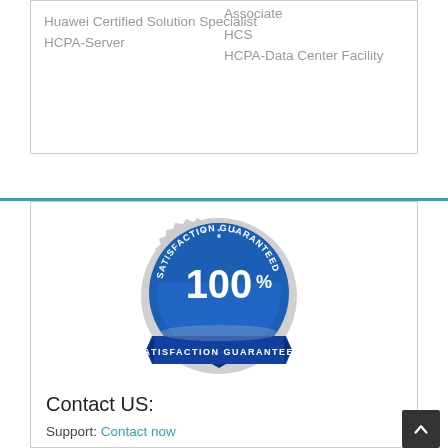Huawei Certified Solution Specialist
HCPA-Server
Associate
HCS
HCPA-Data Center Facility
[Figure (illustration): A circular blue and silver badge/seal with text reading 'SATISFACTION GUARANTEED' around the top arc, '100%' in large text in the center, 'SATISFACTION GUARANTEED' on a blue banner ribbon at the bottom.]
Contact US:
Support: Contact now